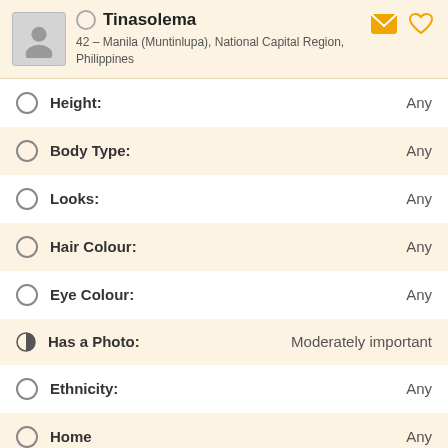Tinasolema — 42 – Manila (Muntinlupa), National Capital Region, Philippines
Height: Any
Body Type: Any
Looks: Any
Hair Colour: Any
Eye Colour: Any
Has a Photo: Moderately important
Ethnicity: Any
Home Any